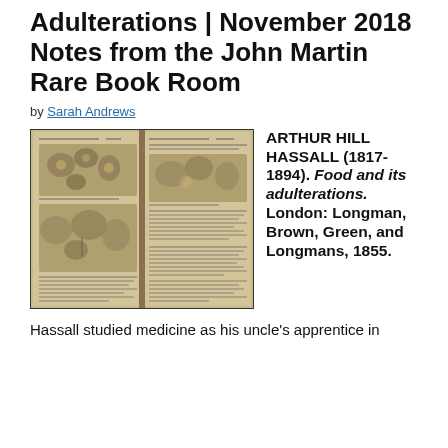Adulterations | November 2018 Notes from the John Martin Rare Book Room
by Sarah Andrews
[Figure (photo): Open book showing two pages with microscopic illustrations of food adulterations, vintage sepia-toned book spread]
ARTHUR HILL HASSALL (1817-1894). Food and its adulterations. London: Longman, Brown, Green, and Longmans, 1855.
Hassall studied medicine as his uncle's apprentice in